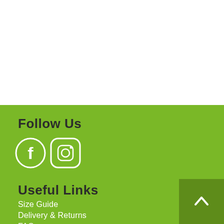Follow Us
[Figure (illustration): Facebook and Instagram social media icons (white circles with white logos on green background)]
Useful Links
Size Guide
Delivery & Returns
FAQs